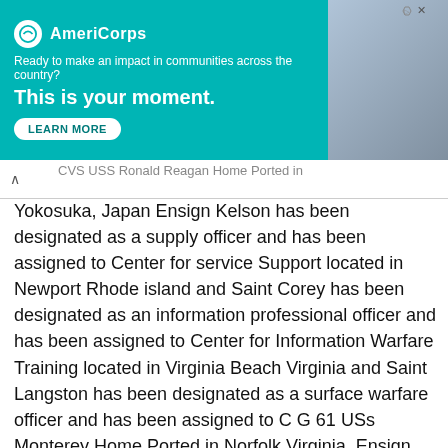[Figure (other): AmeriCorps advertisement banner: teal background with AmeriCorps logo, tagline 'Ready to make an impact in communities across the country?', bold white text 'This is your moment.', a 'LEARN MORE' button, and a photo of a person on the right side.]
CVS USS Ronald Reagan Home Ported in
Yokosuka, Japan Ensign Kelson has been designated as a supply officer and has been assigned to Center for service Support located in Newport Rhode island and Saint Corey has been designated as an information professional officer and has been assigned to Center for Information Warfare Training located in Virginia Beach Virginia and Saint Langston has been designated as a surface warfare officer and has been assigned to C G 61 USs Monterey Home Ported in Norfolk Virginia. Ensign Larrabee has been designated as a surface warfare officer and has been assigned to C G 65 USs chosen Home Ported in Everett wash and since Mandela has been designated as a supply officer and has been assigned to Center for service support located in Newport Rhode island and send Malik has been designated as a surface warfare officer and has been